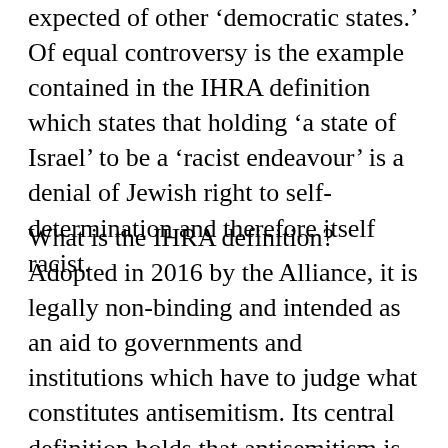expected of other ‘democratic states.’ Of equal controversy is the example contained in the IHRA definition which states that holding ‘a state of Israel’ to be a ‘racist endeavour’ is a denial of Jewish right to self-determination and therefore itself racist.
What is the IHRA definition? Adopted in 2016 by the Alliance, it is legally non-binding and intended as an aid to governments and institutions which have to judge what constitutes antisemitism. Its central definition holds that antisemitism is ‘a certain perception of Jews, which may be expressed as hatred towards Jews.’ It gained rapid recognition - a European Parliament resolution in 2017  called on EU member states to adopt the definition.